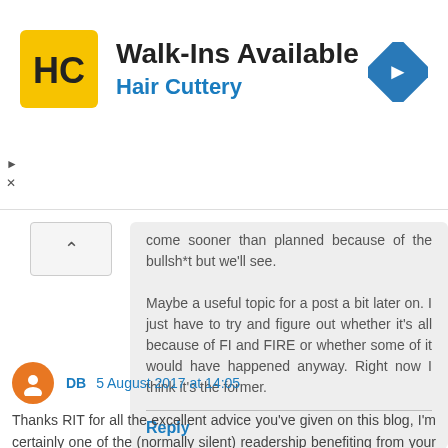[Figure (logo): Hair Cuttery advertisement banner with logo and navigation icon]
come sooner than planned because of the bullsh*t but we'll see.

Maybe a useful topic for a post a bit later on. I just have to try and figure out whether it's all because of FI and FIRE or whether some of it would have happened anyway. Right now I think it's the former.
Reply
DB 5 August 2017 at 14:05
Thanks RIT for all the excellent advice you've given on this blog, I'm certainly one of the (normally silent) readership benefiting from your example. Since finding your blog 20